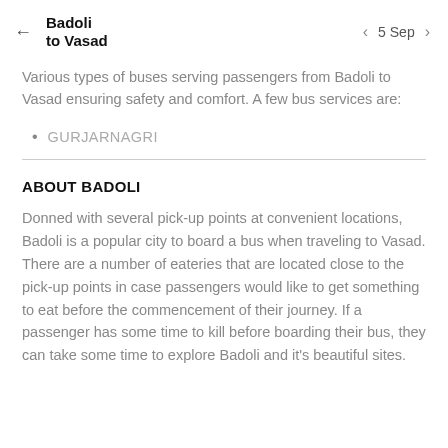Badoli to Vasad
Various types of buses serving passengers from Badoli to Vasad ensuring safety and comfort. A few bus services are:
GURJARNAGRI
ABOUT BADOLI
Donned with several pick-up points at convenient locations, Badoli is a popular city to board a bus when traveling to Vasad. There are a number of eateries that are located close to the pick-up points in case passengers would like to get something to eat before the commencement of their journey. If a passenger has some time to kill before boarding their bus, they can take some time to explore Badoli and it's beautiful sites.